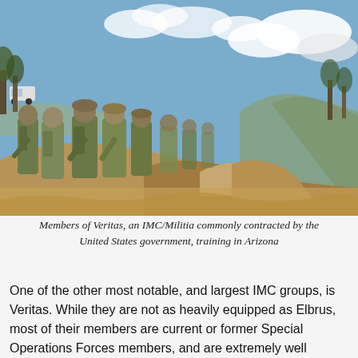[Figure (photo): Military personnel in camouflage uniforms and tactical gear walking along a dry, rocky hillside with scrub brush and trees, under a partly cloudy sky. A white vehicle is visible in the background on the left.]
Members of Veritas, an IMC/Militia commonly contracted by the United States government, training in Arizona
One of the other most notable, and largest IMC groups, is Veritas. While they are not as heavily equipped as Elbrus, most of their members are current or former Special Operations Forces members, and are extremely well supplied with intelligence and